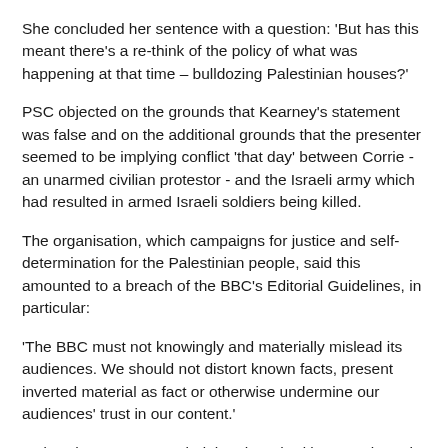She concluded her sentence with a question: 'But has this meant there's a re-think of the policy of what was happening at that time – bulldozing Palestinian houses?'
PSC objected on the grounds that Kearney's statement was false and on the additional grounds that the presenter seemed to be implying conflict 'that day' between Corrie - an unarmed civilian protestor - and the Israeli army which had resulted in armed Israeli soldiers being killed.
The organisation, which campaigns for justice and self-determination for the Palestinian people, said this amounted to a breach of the BBC's Editorial Guidelines, in particular:
'The BBC must not knowingly and materially mislead its audiences. We should not distort known facts, present inverted material as fact or otherwise undermine our audiences' trust in our content.'
Today, the BBC Trust ruled that there had been no breach of the guidelines. In its decision, published on the BBC website, the Trust acknowledged that Kearney's statement was based on the